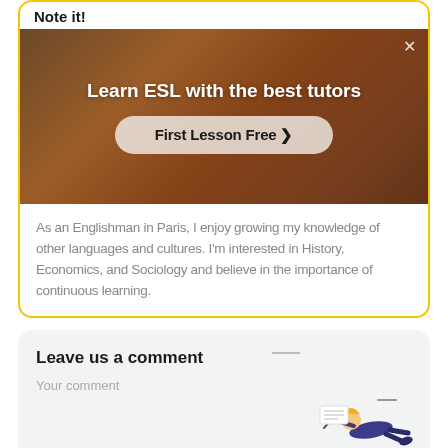Note it!
[Figure (photo): Advertisement banner with warm-toned background photo of a person. Contains text 'Learn ESL with the best tutors' and a button 'First Lesson Free >']
As an Englishman in Paris, I enjoy growing my knowledge of other languages and cultures. I'm interested in History, Economics, and Sociology and believe in the importance of continuous learning.
Leave us a comment
Your comment